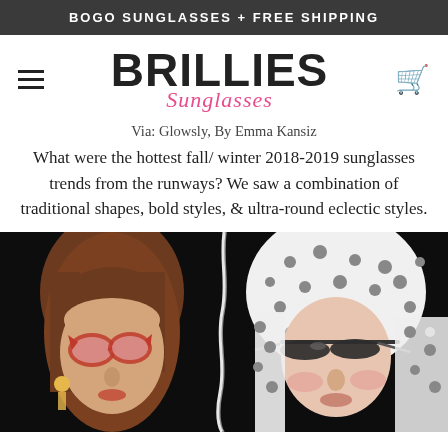BOGO SUNGLASSES + FREE SHIPPING
BRILLIES Sunglasses
Via: Glowsly, By Emma Kansiz
What were the hottest fall/ winter 2018-2019 sunglasses trends from the runways? We saw a combination of traditional shapes, bold styles, & ultra-round eclectic styles.
[Figure (photo): Two female models wearing sunglasses against dark background. Left model wears large red cat-eye glasses and has brown hair with golden earrings. Right model wears slim dark sunglasses and has a white polka-dot headscarf.]